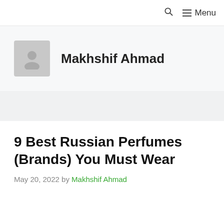🔍  ≡ Menu
Makhshif Ahmad
9 Best Russian Perfumes (Brands) You Must Wear
May 20, 2022 by Makhshif Ahmad